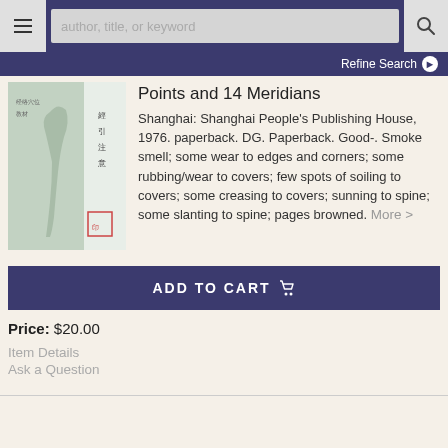author, title, or keyword
Refine Search
[Figure (photo): Book cover with Chinese text and a figure illustration, light green/gray cover]
Points and 14 Meridians
Shanghai: Shanghai People's Publishing House, 1976. paperback. DG. Paperback. Good-. Smoke smell; some wear to edges and corners; some rubbing/wear to covers; few spots of soiling to covers; some creasing to covers; sunning to spine; some slanting to spine; pages browned. More >
ADD TO CART
Price: $20.00
Item Details
Ask a Question